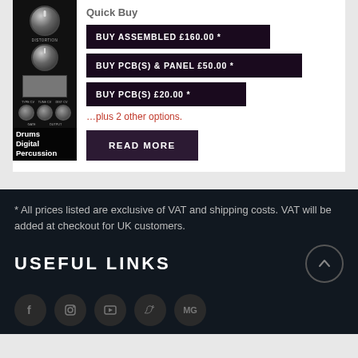[Figure (photo): Electronic drum module product image showing knobs, display screen, jacks labeled TYPE CV, TUNE CV, DIST CV, GATE, OUTPUT with text overlay: Drums Digital Percussion]
Quick Buy
BUY ASSEMBLED £160.00 *
BUY PCB(S) & PANEL £50.00 *
BUY PCB(S) £20.00 *
…plus 2 other options.
READ MORE
* All prices listed are exclusive of VAT and shipping costs. VAT will be added at checkout for UK customers.
USEFUL LINKS
[Figure (infographic): Row of social media icons: Facebook, Instagram, YouTube, Twitter, MG]